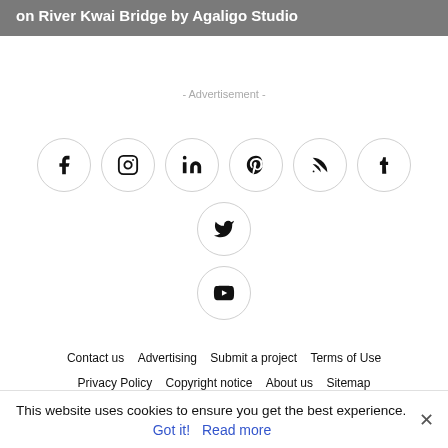on River Kwai Bridge by Agaligo Studio
- Advertisement -
[Figure (other): Social media icon buttons in circles: Facebook, Instagram, LinkedIn, Pinterest, RSS, Tumblr, Twitter, YouTube]
Contact us  Advertising  Submit a project  Terms of Use  Privacy Policy  Copyright notice  About us  Sitemap  Yearbook  Filmfood
This website uses cookies to ensure you get the best experience.
Got it!  Read more